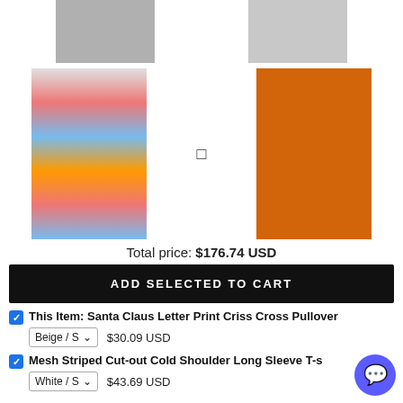[Figure (photo): Two clothing product photos at top: left shows a gray pullover with lace sleeves, right shows a striped long sleeve top with jeans]
[Figure (photo): Two clothing product photos in middle row: left shows a colorful striped v-neck top, right shows an orange pumpkin graphic tee]
Total price: $176.74 USD
ADD SELECTED TO CART
This Item: Santa Claus Letter Print Criss Cross Pullover
Beige / S   $30.09 USD
Mesh Striped Cut-out Cold Shoulder Long Sleeve T-s
White / S   $43.69 USD